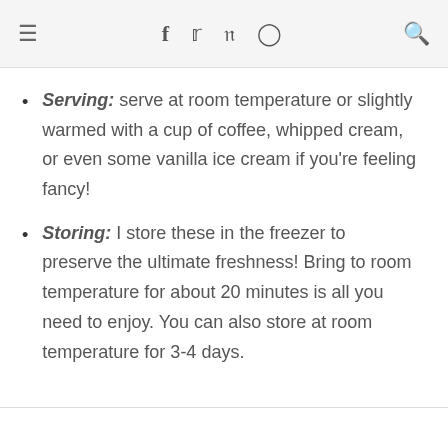≡  f  𝕥  𝗽  🔍
Serving: serve at room temperature or slightly warmed with a cup of coffee, whipped cream, or even some vanilla ice cream if you're feeling fancy!
Storing: I store these in the freezer to preserve the ultimate freshness! Bring to room temperature for about 20 minutes is all you need to enjoy. You can also store at room temperature for 3-4 days.